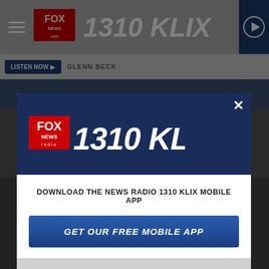[Figure (screenshot): Website screenshot of Fox News Radio 1310 KLIX webpage with a modal popup overlay. The background shows the site header with logo, navigation, and a partially visible article about 'Odd Couples: David Bowie and J...' with an image showing 'ODD COUPLES: JOHN LENNON / DAVID BOWIE'. The modal popup contains the Fox News Radio 1310 KLIX logo on dark navy background, a close X button, text 'DOWNLOAD THE NEWS RADIO 1310 KLIX MOBILE APP', a blue 'GET OUR FREE MOBILE APP' button, and an 'Also listen on: [play icon] amazon alexa' section on gray background.]
FOX NEWS RADIO 1310 KLIX
DOWNLOAD THE NEWS RADIO 1310 KLIX MOBILE APP
GET OUR FREE MOBILE APP
Also listen on: amazon alexa
Odd Couples: David Bowie and J...
ODD COUPLES: JOHN LENNON / DAVID BOWIE